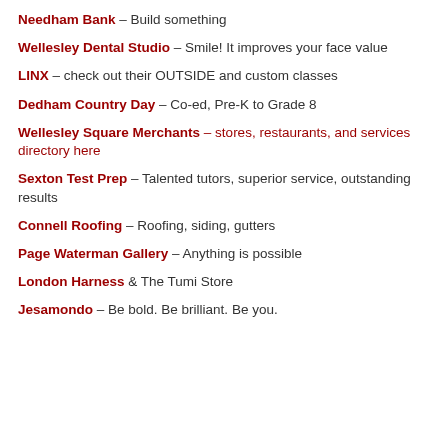Needham Bank – Build something
Wellesley Dental Studio – Smile! It improves your face value
LINX – check out their OUTSIDE and custom classes
Dedham Country Day – Co-ed, Pre-K to Grade 8
Wellesley Square Merchants – stores, restaurants, and services directory here
Sexton Test Prep – Talented tutors, superior service, outstanding results
Connell Roofing – Roofing, siding, gutters
Page Waterman Gallery – Anything is possible
London Harness & The Tumi Store
Jesamondo – Be bold. Be brilliant. Be you.